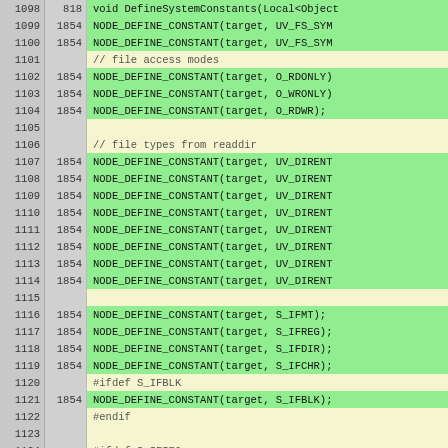[Figure (screenshot): Source code viewer showing lines 1098-1124 of a C++ file with line numbers, coverage counts (1854), and code implementing NODE_DEFINE_CONSTANT calls for file system constants including UV_FS_SYM, O_RDONLY, O_WRONLY, O_RDWR, UV_DIRENT*, S_IFMT, S_IFREG, S_IFDIR, S_IFCHR, S_IFBLK, S_IFIFO, with preprocessor directives #ifdef/#endif. Green background for covered lines, yellow background for empty/comment lines.]